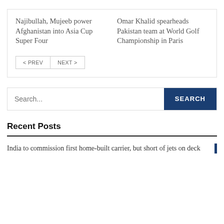Najibullah, Mujeeb power Afghanistan into Asia Cup Super Four
Omar Khalid spearheads Pakistan team at World Golf Championship in Paris
< PREV   NEXT >
Search...
Recent Posts
India to commission first home-built carrier, but short of jets on deck